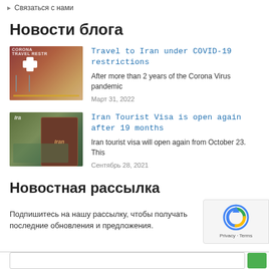Связаться с нами
Новости блога
[Figure (photo): Airport/travel COVID-19 restriction sign with red cross and barriers]
Travel to Iran under COVID-19 restrictions
After more than 2 years of the Corona Virus pandemic
Март 31, 2022
[Figure (photo): Iranian passport/visa document with green background]
Iran Tourist Visa is open again after 19 months
Iran tourist visa will open again from October 23. This
Сентябрь 28, 2021
Новостная рассылка
Подпишитесь на нашу рассылку, чтобы получать последние обновления и предложения.